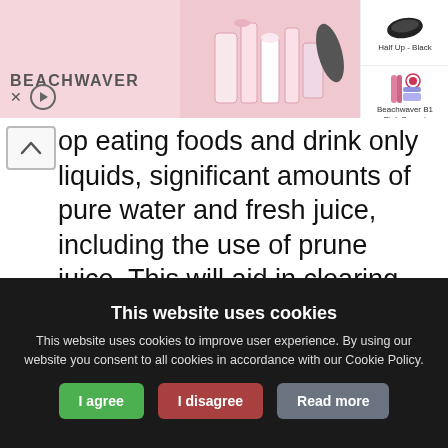[Figure (screenshot): Beachwaver advertisement banner with pink background showing hair products, a black hair clip labeled 'Half Up - Black', and a pink hair tool labeled 'Beachwaver B1 Pink Sunset']
op eating foods and drink only liquids, significant amounts of pure water and fresh juice, including the use of prune juice. This will aid in clearing out potential blockages.
Enemas will help to clear the bowel and the blockage which may be causing the appendicitis. Elimination of the cause will help the body to naturally take care of the inflammation. For instructions on how to
This website uses cookies
This website uses cookies to improve user experience. By using our website you consent to all cookies in accordance with our Cookie Policy.
I agree
I disagree
Read more